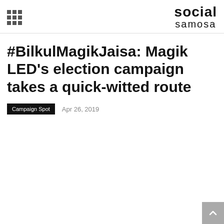social samosa
#BilkulMagikJaisa: Magik LED's election campaign takes a quick-witted route
Campaign Spot   Apr 26, 2019